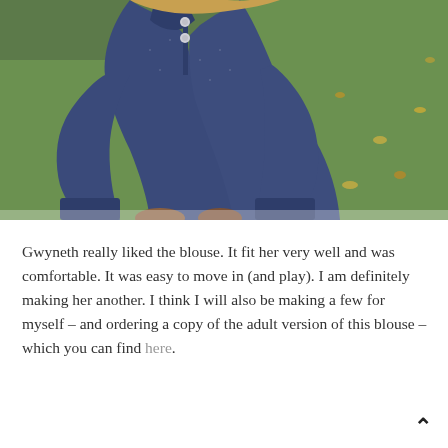[Figure (photo): A young girl wearing a navy blue henley blouse with small buttons at the neckline, standing on green grass with fallen autumn leaves. The photo is cropped to show her torso and the outdoor background.]
Gwyneth really liked the blouse. It fit her very well and was comfortable. It was easy to move in (and play). I am definitely making her another. I think I will also be making a few for myself – and ordering a copy of the adult version of this blouse – which you can find here.